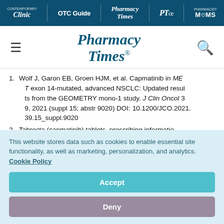Contemporary Clinic | OTC Guide | Pharmacy Times | PTce | Pharmacist MOMS
[Figure (logo): Pharmacy Times logo with hamburger menu and search icon]
1. Wolf J, Garon EB, Groen HJM, et al. Capmatinib in MET exon 14-mutated, advanced NSCLC: Updated results from the GEOMETRY mono-1 study. J Clin Oncol 39, 2021 (suppl 15; abstr 9020) DOI: 10.1200/JCO.2021.39.15_suppl.9020
2. Tabrecta (capmatinib) tablets, prescribing informatio
This website stores data such as cookies to enable essential site functionality, as well as marketing, personalization, and analytics. Cookie Policy
Accept
Deny